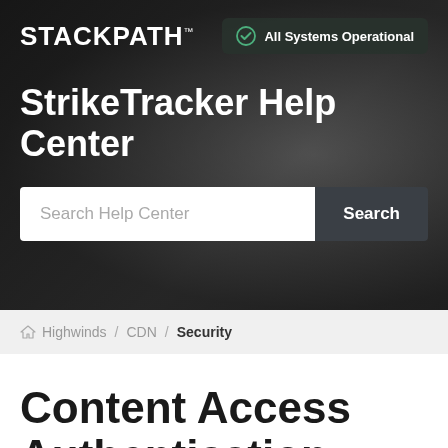[Figure (screenshot): StackPath StrikeTracker Help Center hero banner with dark background showing office workers, logo top-left, All Systems Operational badge top-right, site title, and search bar]
STACKPATH
All Systems Operational
StrikeTracker Help Center
Search Help Center
Search
Highwinds / CDN / Security
Content Access Authentication